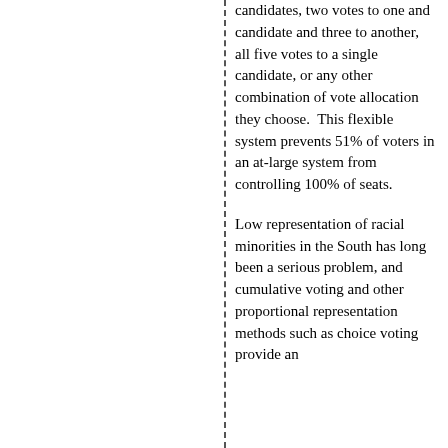candidates, two votes to one and candidate and three to another, all five votes to a single candidate, or any other combination of vote allocation they choose.  This flexible system prevents 51% of voters in an at-large system from controlling 100% of seats.
Low representation of racial minorities in the South has long been a serious problem, and cumulative voting and other proportional representation methods such as choice voting provide an